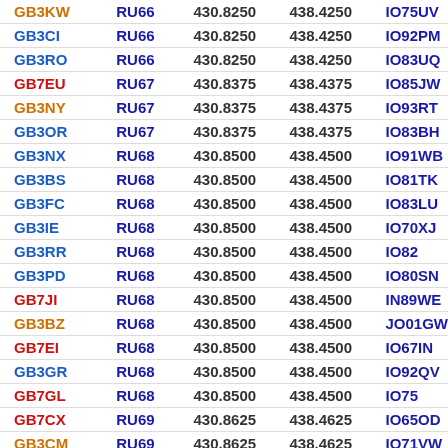| Callsign | Channel | RX Freq | TX Freq | Locator |
| --- | --- | --- | --- | --- |
| GB3KW | RU66 | 430.8250 | 438.4250 | IO75UV |
| GB3CI | RU66 | 430.8250 | 438.4250 | IO92PM |
| GB3RO | RU66 | 430.8250 | 438.4250 | IO83UQ |
| GB7EU | RU67 | 430.8375 | 438.4375 | IO85JW |
| GB3NY | RU67 | 430.8375 | 438.4375 | IO93RT |
| GB3OR | RU67 | 430.8375 | 438.4375 | IO83BH |
| GB3NX | RU68 | 430.8500 | 438.4500 | IO91WB |
| GB3BS | RU68 | 430.8500 | 438.4500 | IO81TK |
| GB3FC | RU68 | 430.8500 | 438.4500 | IO83LU |
| GB3IE | RU68 | 430.8500 | 438.4500 | IO70XJ |
| GB3RR | RU68 | 430.8500 | 438.4500 | IO82 |
| GB3PD | RU68 | 430.8500 | 438.4500 | IO80SN |
| GB7JI | RU68 | 430.8500 | 438.4500 | IN89WE |
| GB3BZ | RU68 | 430.8500 | 438.4500 | JO01GW |
| GB7EI | RU68 | 430.8500 | 438.4500 | IO67IN |
| GB3GR | RU68 | 430.8500 | 438.4500 | IO92QV |
| GB7GL | RU68 | 430.8500 | 438.4500 | IO75 |
| GB7CX | RU69 | 430.8625 | 438.4625 | IO65OD |
| GB3CM | RU69 | 430.8625 | 438.4625 | IO71VW |